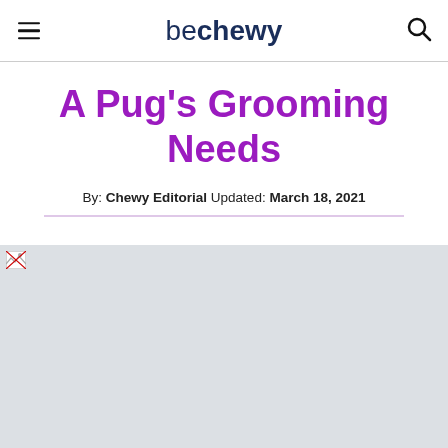be chewy
A Pug's Grooming Needs
By: Chewy Editorial Updated: March 18, 2021
[Figure (photo): Large image area currently unloaded (broken image placeholder in top-left corner), gray background representing a pug grooming article hero image]